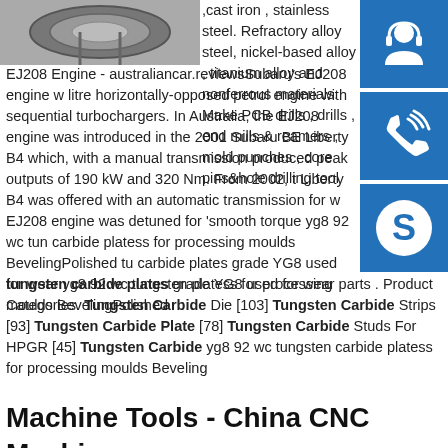[Figure (photo): Photo of a metallic circular part/disc on a surface]
,cast iron , stainless steel. Refractory alloy steel, nickel-based alloy , titanium alloy and nonferrous materials. Make PCB drills , drills , end mills & reamers , mold punches , core pins&hole drilling tool EJ208 Engine - australiancar.reviews Subaru's EJ208 engine w litre horizontally-opposed petrol engine with sequential turbochargers. In Australia, the EJ208 engine was introduced in the 2001 Subaru BE Liberty B4 which, with a manual transmission produced peak outputs of 190 kW and 320 Nm. From 2002, the Liberty B4 was offered with an automatic transmission for w EJ208 engine was detuned for 'smooth torque yg8 92 wc tungsten carbide platess for processing moulds BevelingPolished tungsten carbide plates grade YG8 used for wear yg8 92 wc tungsten carbide platess for processing moulds BevelingPolished tungsten carbide plates grade YG8 used for wear parts . Product Categories. Tungsten Carbide Die [103] Tungsten Carbide Strips [93] Tungsten Carbide Plate [78] Tungsten Carbide Studs For HPGR [45] Tungsten Carbide yg8 92 wc tungsten carbide platess for processing moulds Beveling
[Figure (infographic): Three blue sidebar buttons: headset/support icon, phone/call icon, and Skype icon]
Machine Tools - China CNC Machine,